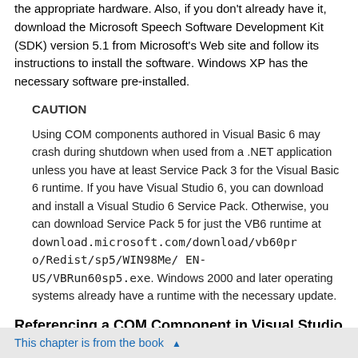the appropriate hardware. Also, if you don't already have it, download the Microsoft Speech Software Development Kit (SDK) version 5.1 from Microsoft's Web site and follow its instructions to install the software. Windows XP has the necessary software pre-installed.
CAUTION
Using COM components authored in Visual Basic 6 may crash during shutdown when used from a .NET application unless you have at least Service Pack 3 for the Visual Basic 6 runtime. If you have Visual Studio 6, you can download and install a Visual Studio 6 Service Pack. Otherwise, you can download Service Pack 5 for just the VB6 runtime at download.microsoft.com/download/vb60pro/Redist/sp5/WIN98Me/ EN-US/VBRun60sp5.exe. Windows 2000 and later operating systems already have a runtime with the necessary update.
Referencing a COM Component in Visual Studio .NET
Referencing a COM component is often the first step for using it in
This chapter is from the book ▲